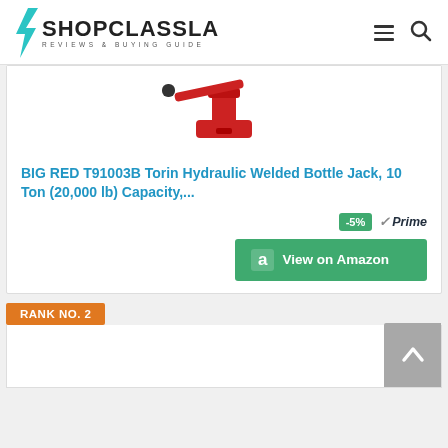SHOPCLASSLA REVIEWS & BUYING GUIDE
[Figure (photo): Red BIG RED T91003B Torin Hydraulic Welded Bottle Jack product image]
BIG RED T91003B Torin Hydraulic Welded Bottle Jack, 10 Ton (20,000 lb) Capacity,...
-5%  Prime  View on Amazon
RANK NO. 2